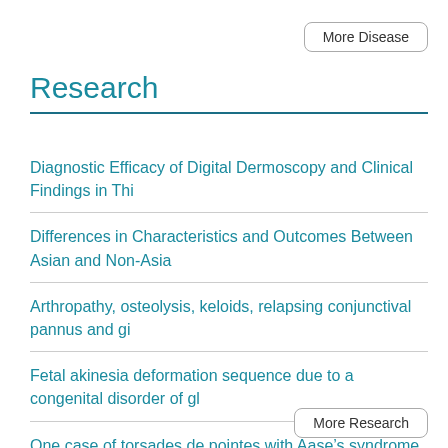More Disease
Research
Diagnostic Efficacy of Digital Dermoscopy and Clinical Findings in Thi
Differences in Characteristics and Outcomes Between Asian and Non-Asia
Arthropathy, osteolysis, keloids, relapsing conjunctival pannus and gi
Fetal akinesia deformation sequence due to a congenital disorder of gl
One case of torsades de pointes with Aase’s syndrome induced by
More Research